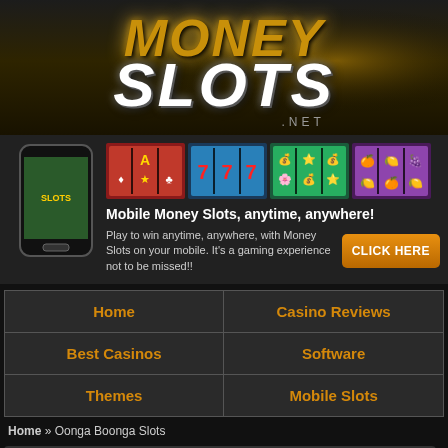[Figure (logo): Money Slots .net logo with gold text MONEY on top and white SLOTS below, on dark background with golden glow effects]
[Figure (infographic): Mobile phone showing slot game, with four slot game thumbnail images (colorful reel games), headline 'Mobile Money Slots, anytime, anywhere!', promo text, and orange CLICK HERE button]
| Home | Casino Reviews |
| Best Casinos | Software |
| Themes | Mobile Slots |
Home » Oonga Boonga Slots
Oonga Boonga Slots »